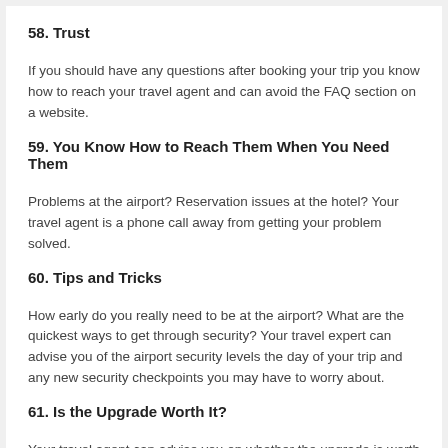58. Trust
If you should have any questions after booking your trip you know how to reach your travel agent and can avoid the FAQ section on a website.
59. You Know How to Reach Them When You Need Them
Problems at the airport? Reservation issues at the hotel? Your travel agent is a phone call away from getting your problem solved.
60. Tips and Tricks
How early do you really need to be at the airport? What are the quickest ways to get through security? Your travel expert can advise you of the airport security levels the day of your trip and any new security checkpoints you may have to worry about.
61. Is the Upgrade Worth It?
Your travel agent can advise you on whether the upgrade is worth it.